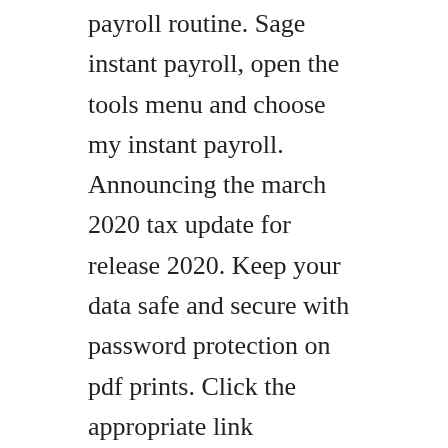payroll routine. Sage instant payroll, open the tools menu and choose my instant payroll. Announcing the march 2020 tax update for release 2020. Keep your data safe and secure with password protection on pdf prints. Click the appropriate link associated with your current version of sage peachtree to download.
Sage 50 payroll rti edition is recommended if you have up to 50 employees and is rti compliant. Plus, sage 50 complete now comes with sage business care, an autorenewing